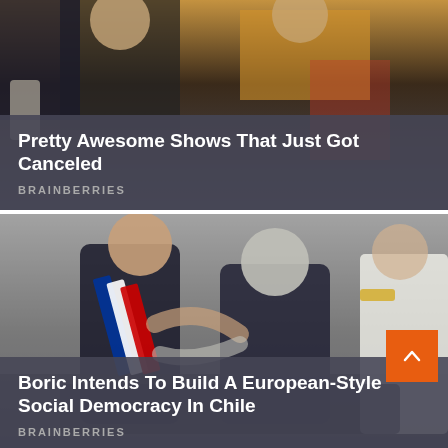[Figure (photo): TV show cast photo with people in costumes, partially cropped at top]
Pretty Awesome Shows That Just Got Canceled
BRAINBERRIES
[Figure (photo): Two men embracing, one wearing a presidential sash with blue, white, and red colors, the other in a dark suit. A military officer in white uniform visible on the right.]
Boric Intends To Build A European-Style Social Democracy In Chile
BRAINBERRIES